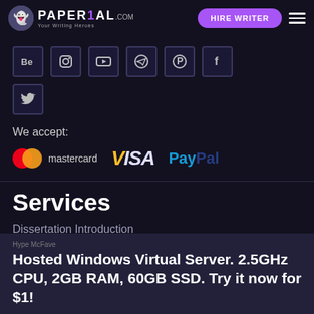PAPER1AL .com HIRE WRITER
[Figure (screenshot): Social media icon buttons in a dark rounded square style: Behance, Instagram, YouTube, Telegram, Pinterest, Facebook (first row), and Twitter (second row)]
We accept:
[Figure (logo): Payment method logos: Mastercard, VISA, PayPal]
Services
Dissertation Introduction
Thesis Statement Help
Book Report
Argumentative Essay
Hosted Windows Virtual Server. 2.5GHz CPU, 2GB RAM, 60GB SSD. Try it now for $1!